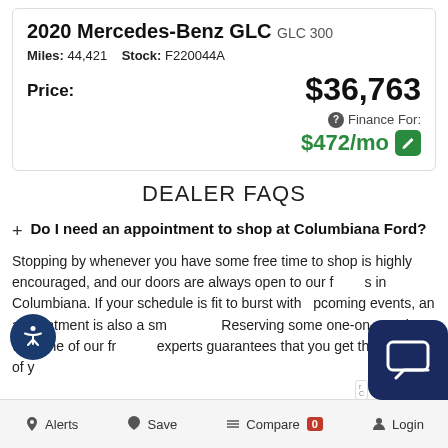2020 Mercedes-Benz GLC GLC 300
Miles: 44,421   Stock: F220044A
Price: $36,763
Finance For: $472/mo
DEALER FAQS
Do I need an appointment to shop at Columbiana Ford?
Stopping by whenever you have some free time to shop is highly encouraged, and our doors are always open to our friends in Columbiana. If your schedule is fit to burst with upcoming events, an appointment is also a sm... Reserving some one-on-one time with one of our fr... experts guarantees that you get the most out of yo...
Alerts   Save   Compare 0   Login